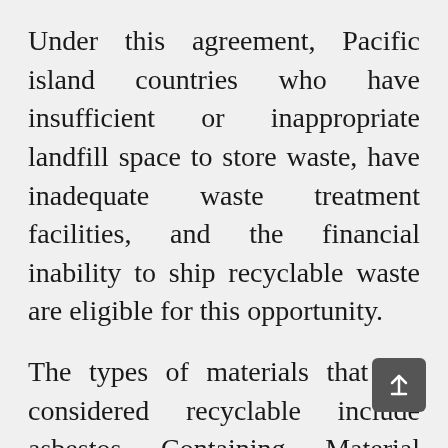Under this agreement, Pacific island countries who have insufficient or inappropriate landfill space to store waste, have inadequate waste treatment facilities, and the financial inability to ship recyclable waste are eligible for this opportunity.
The types of materials that are considered recyclable include asbestos Containing Material (ACM), discarded “single use plastics”, e-waste, typically end-of-life electrical and electronic products, medical waste, Polychlorinated Bi-Phenols (PCBs), Residual Ozone Depleting Substances/Freon’s (ODS), Persistent Organic Pollutants (POPs), waste Oils plastic materials, aluminium cans, waste oil and